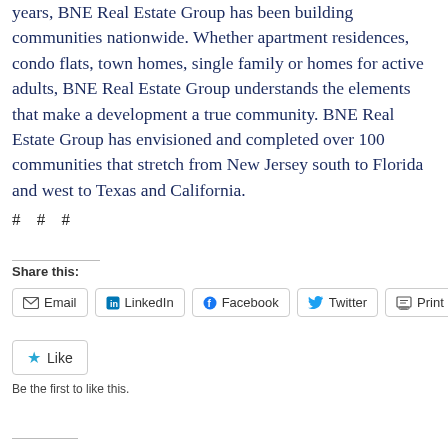years, BNE Real Estate Group has been building communities nationwide. Whether apartment residences, condo flats, town homes, single family or homes for active adults, BNE Real Estate Group understands the elements that make a development a true community. BNE Real Estate Group has envisioned and completed over 100 communities that stretch from New Jersey south to Florida and west to Texas and California.
# # #
Share this:
Email  LinkedIn  Facebook  Twitter  Print
Like
Be the first to like this.